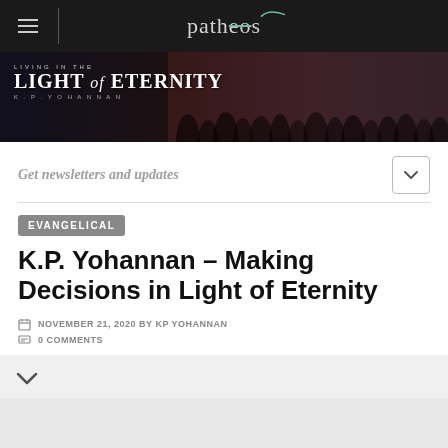patheos
[Figure (photo): Banner photo for 'Living in the Light of Eternity' blog by K.P. Yohannan, showing a crowd of people in a darkened venue with red lighting.]
Get newsletters and updates
EVANGELICAL
K.P. Yohannan – Making Decisions in Light of Eternity
NOVEMBER 21, 2020 BY KP YOHANNAN
0 COMMENTS